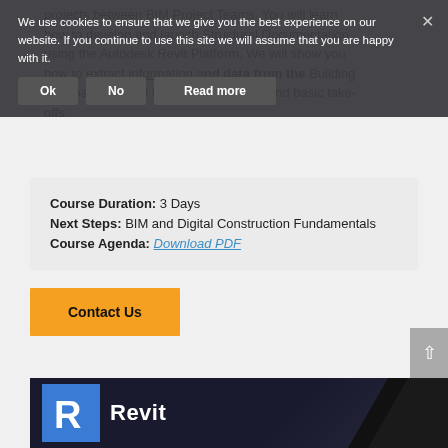We use cookies to ensure that we give you the best experience on our website. If you continue to use this site we will assume that you are happy with it.
projects between BIM Project Teams. You will learn how to develop and launch Structural Documentation using the Autodesk Revit Platform. We will show you how to extract information and data from the Building Information Model to create schedules and basic take-offs.
Course Duration: 3 Days
Next Steps: BIM and Digital Construction Fundamentals
Course Agenda: Download PDF
Contact Us
[Figure (logo): Autodesk Revit logo — blue 'R' icon on dark background with the word 'Revit' in white text]